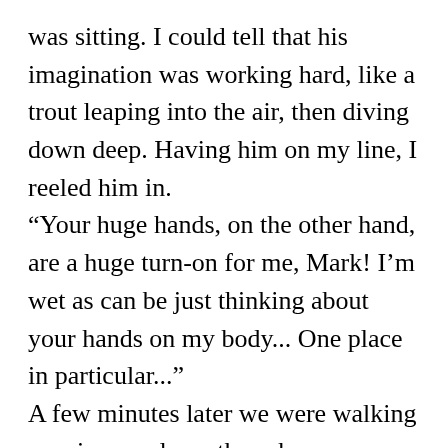was sitting. I could tell that his imagination was working hard, like a trout leaping into the air, then diving down deep. Having him on my line, I reeled him in.
“Your huge hands, on the other hand, are a huge turn-on for me, Mark! I’m wet as can be just thinking about your hands on my body... One place in particular...”
A few minutes later we were walking arm-in-arm down the subway stairway.
“I need to be clear, Mark, so neither of us is disappointed. Your magnificent hands have special appeal to me because I like to be